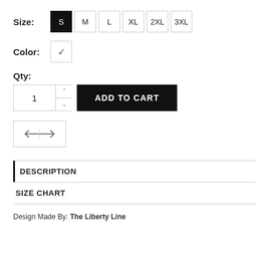Size: S M L XL 2XL 3XL
Color: ✓
Qty:
1  ADD TO CART
[Figure (other): Size chart icon with two horizontal arrows pointing left and right]
DESCRIPTION
SIZE CHART
Design Made By: The Liberty Line